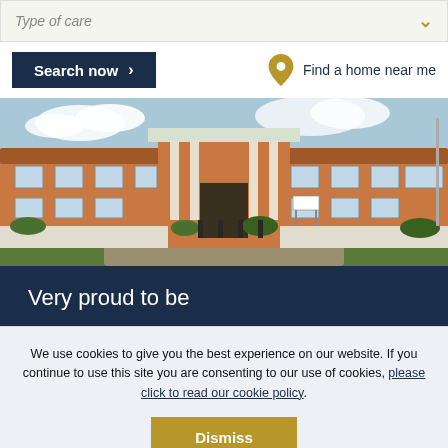Type of care
Search now
Find a home near me
[Figure (photo): Exterior photograph of a care home building, two-storey brick building with white columns at entrance, landscaped gardens and driveway in foreground, blue sky with clouds.]
Very proud to be
We use cookies to give you the best experience on our website. If you continue to use this site you are consenting to our use of cookies, please click to read our cookie policy.
Dismiss